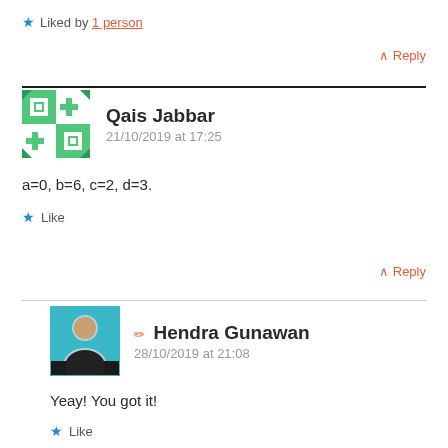Liked by 1 person
Reply
Qais Jabbar
21/10/2019 at 17:25
a=0, b=6, c=2, d=3.
Like
Reply
Hendra Gunawan
28/10/2019 at 21:08
Yeay! You got it!
Like